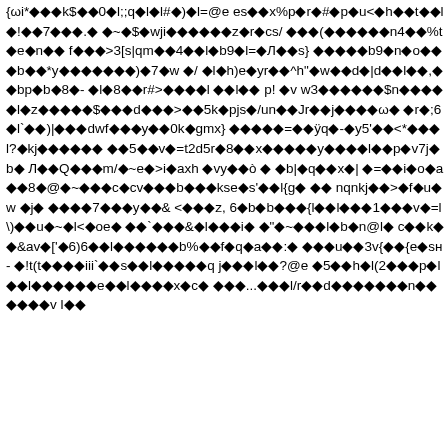{ωi*◆◆◆k$◆◆0◆l;;q◆l◆l#◆)◆l=@e es◆◆x%p◆r◆#◆p◆u<◆h◆◆t◆◆l◆!◆◆7◆◆◆.◆ ◆~◆$◆wji◆◆◆◆◆◆z◆r◆cs/ ◆◆◆(◆◆◆◆◆◆n4◆◆%t◆e◆n◆◆ f◆◆◆>3[s|qm◆◆4◆◆l◆b9◆l=◆Л◆◆s} ◆◆◆◆◆b9◆n◆o◆◆◆b◆◆*y◆◆◆◆◆◆◆)◆7◆w ◆/ ◆l◆h)e◆yr◆◆^h"◆w◆◆d◆|d◆◆l◆◆,◆◆bp◆b◆8◆- ◆l◆8◆◆r#>◆◆◆◆l ◆◆l◆◆ p! ◆v w3◆◆◆◆◆◆$n◆◆◆◆ ◆l◆z◆◆◆◆◆$◆◆◆d◆◆◆>◆◆5k◆pjs◆/un◆◆Jr◆◆j◆◆◆◆ω◆ ◆r◆;6◆l`◆◆)|◆◆◆dwf◆◆◆y◆◆0k◆gmx} ◆◆◆◆◆=◆◆ÿq◆-◆y5'◆◆<*◆◆◆l?◆kj◆◆◆◆◆◆ ◆◆5◆◆v◆=t2d5r◆8◆◆x◆◆◆◆◆y◆◆◆◆l◆◆p◆v7j◆b◆ Л◆◆Q◆◆◆m/◆~e◆>i◆axh ◆vy◆◆ò ◆ ◆b|◆q◆◆x◆| ◆=◆◆i◆o◆a◆◆8◆@◆~◆◆◆c◆cv◆◆◆b◆◆◆kse◆s'◆◆l{g◆ ◆◆ nqnkj◆◆>◆f◆u◆w ◆j◆ ◆◆◆◆7◆◆◆y◆◆& <◆◆◆z, 6◆b◆b◆◆◆{l◆◆l◆◆◆1◆◆◆v◆=l\)◆◆u◆~◆l<◆oe◆ ◆◆`◆◆◆&◆l◆◆◆i◆ ◆"◆~◆◆◆l◆b◆n@l◆ c◆◆k◆◆&av◆['◆6)6◆◆l◆◆◆◆◆◆b%◆◆f◆q◆a◆◆:◆ ◆◆◆u◆◆3v{◆◆{e◆sн- ◆!t(t◆◆◆◆iii`◆◆s◆◆l◆◆◆◆◆q j◆◆◆l◆◆?@e ◆5◆◆h◆l(2◆◆◆p◆l◆◆l◆◆◆◆◆◆e◆◆l◆◆◆◆x◆c◆ ◆◆◆...◆◆◆l/r◆◆d◆◆◆◆◆◆◆n◆◆◆◆◆◆v l◆◆